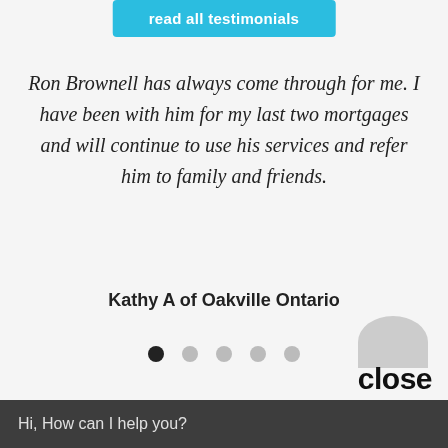read all testimonials
Ron Brownell has always come through for me. I have been with him for my last two mortgages and will continue to use his services and refer him to family and friends.
Kathy A of Oakville Ontario
[Figure (other): Carousel pagination dots: 5 dots, first one filled black, rest gray]
[Figure (photo): Partial circular avatar photo visible at bottom right]
close
Hi, How can I help you?